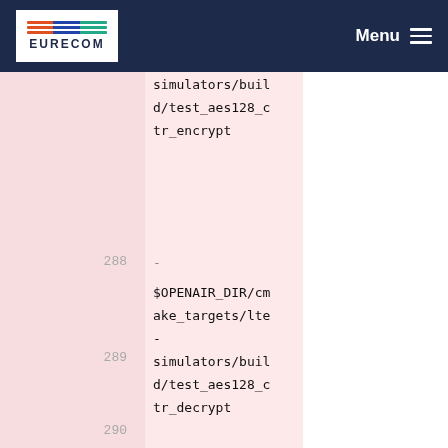EURECOM | Menu
simulators/build
d/test_aes128_c
tr_encrypt
288   -
$OPENAIR_DIR/cm
ake_targets/lte
-
simulators/buil
d/test_aes128_c
tr_decrypt
289   -
$OPENAIR_DIR/cm
ake_targets/lte
-
simulators/buil
d/test_secu_kna
s_encrypt_eea2
290   -